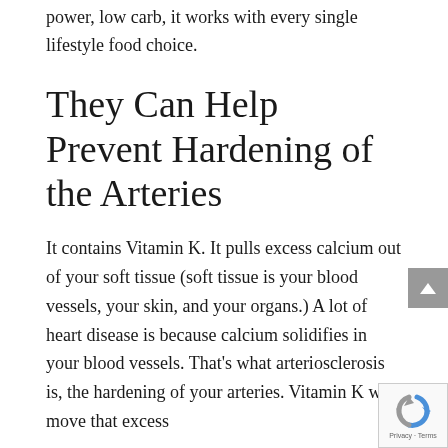power, low carb, it works with every single lifestyle food choice.
They Can Help Prevent Hardening of the Arteries
It contains Vitamin K. It pulls excess calcium out of your soft tissue (soft tissue is your blood vessels, your skin, and your organs.) A lot of heart disease is because calcium solidifies in your blood vessels. That's what arteriosclerosis is, the hardening of your arteries. Vitamin K will move that excess